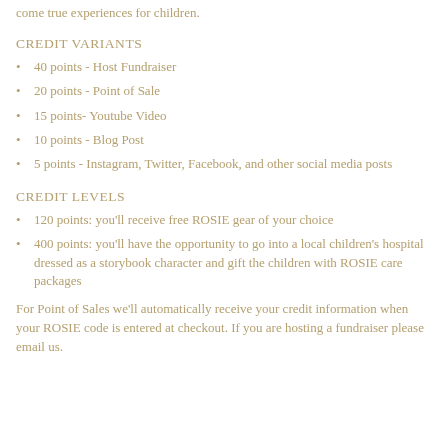come true experiences for children.
CREDIT VARIANTS
40 points - Host Fundraiser
20 points - Point of Sale
15 points- Youtube Video
10 points - Blog Post
5 points - Instagram, Twitter, Facebook, and other social media posts
CREDIT LEVELS
120 points: you'll receive free ROSIE gear of your choice
400 points: you'll have the opportunity to go into a local children's hospital dressed as a storybook character and gift the children with ROSIE care packages
For Point of Sales we'll automatically receive your credit information when your ROSIE code is entered at checkout. If you are hosting a fundraiser please email us.